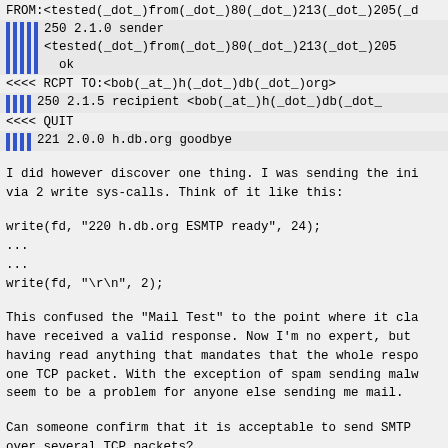FROM:<tested(_dot_)from(_dot_)80(_dot_)213(_dot_)205(_d
| | | | |   250 2.1.0 sender <tested(_dot_)from(_dot_)80(_dot_)213(_dot_)205 ok
<<<< RCPT TO:<bob(_at_)h(_dot_)db(_dot_)org>
| | | |   250 2.1.5 recipient <bob(_at_)h(_dot_)db(_dot_
<<<< QUIT
| | | |   221 2.0.0 h.db.org goodbye
I did however discover one thing. I was sending the ini via 2 write sys-calls. Think of it like this:
write(fd, "220 h.db.org ESMTP ready", 24);
...
...
write(fd, "\r\n", 2);
This confused the "Mail Test" to the point where it cla have received a valid response. Now I'm no expert, but having read anything that mandates that the whole respo one TCP packet. With the exception of spam sending malw seem to be a problem for anyone else sending me mail.
Can someone confirm that it is acceptable to send SMTP over several TCP packets?
Bob
BTW: As i mentioned, spam zombies seems to have the sam